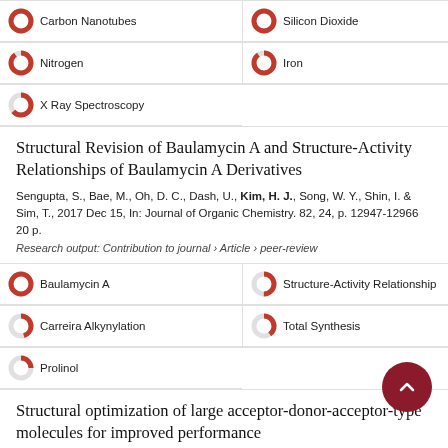Carbon Nanotubes
Silicon Dioxide
Nitrogen
Iron
X Ray Spectroscopy
Structural Revision of Baulamycin A and Structure-Activity Relationships of Baulamycin A Derivatives
Sengupta, S., Bae, M., Oh, D. C., Dash, U., Kim, H. J., Song, W. Y., Shin, I. & Sim, T., 2017 Dec 15, In: Journal of Organic Chemistry. 82, 24, p. 12947-12966 20 p.
Research output: Contribution to journal › Article › peer-review
Baulamycin A
Structure-Activity Relationship
Carreira Alkynylation
Total Synthesis
Prolinol
Structural optimization of large acceptor-donor-acceptor-type molecules for improved performance